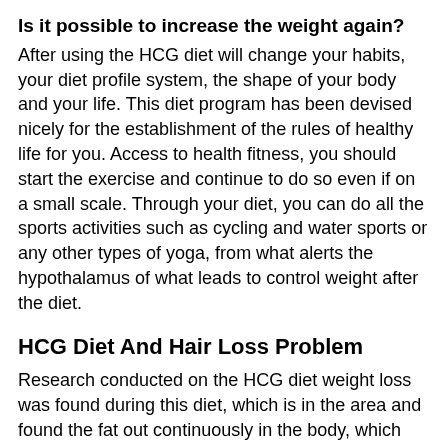Is it possible to increase the weight again?
After using the HCG diet will change your habits, your diet profile system, the shape of your body and your life. This diet program has been devised nicely for the establishment of the rules of healthy life for you. Access to health fitness, you should start the exercise and continue to do so even if on a small scale. Through your diet, you can do all the sports activities such as cycling and water sports or any other types of yoga, from what alerts the hypothalamus of what leads to control weight after the diet.
HCG Diet And Hair Loss Problem
Research conducted on the HCG diet weight loss was found during this diet, which is in the area and found the fat out continuously in the body, which also does not cause rupture of muscle tissue.
During this diet, while the fat in the body continuing to melt, all nutrition foods that are taken with the possible factors to be helpful.
Hair loss can affect your scalp only or the entire body. It can